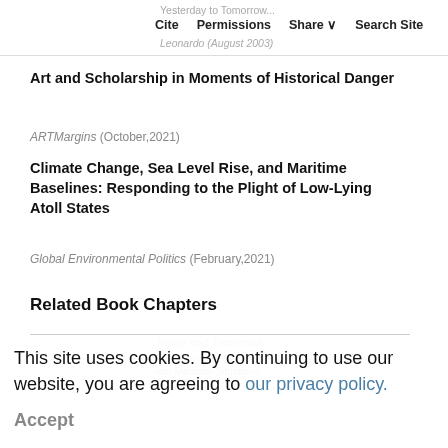Yesterday to Tomorrow · Cite  Permissions  Share  Search Site · Leonardo (August 2003)
Art and Scholarship in Moments of Historical Danger
ARTMargins (October,2021)
Climate Change, Sea Level Rise, and Maritime Baselines: Responding to the Plight of Low-Lying Atoll States
Global Environmental Politics (February,2021)
Related Book Chapters
This site uses cookies. By continuing to use our website, you are agreeing to our privacy policy. Accept